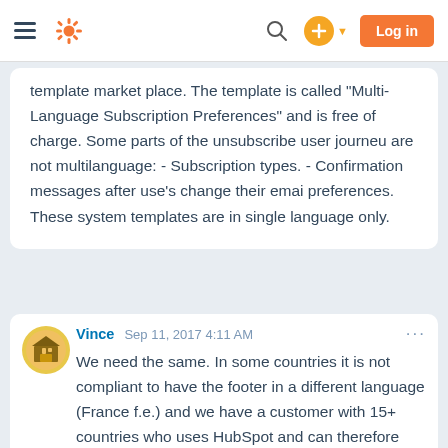HubSpot navigation bar with logo, search, plus button, and Log in button
template market place. The template is called "Multi-Language Subscription Preferences" and is free of charge. Some parts of the unsubscribe user journeu are not multilanguage: - Subscription types. - Confirmation messages after use's change their emai preferences. These system templates are in single language only.
Vince
Sep 11, 2017 4:11 AM
We need the same. In some countries it is not compliant to have the footer in a different language (France f.e.) and we have a customer with 15+ countries who uses HubSpot and can therefore only